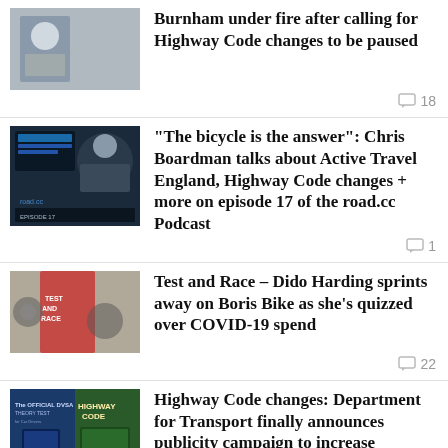Burnham under fire after calling for Highway Code changes to be paused
"The bicycle is the answer": Chris Boardman talks about Active Travel England, Highway Code changes + more on episode 17 of the road.cc Podcast
Test and Race – Dido Harding sprints away on Boris Bike as she’s quizzed over COVID-19 spend
Highway Code changes: Department for Transport finally announces publicity campaign to increase awareness